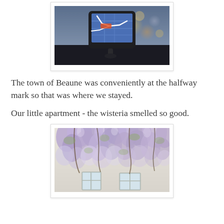[Figure (photo): A GPS navigation device mounted on a car dashboard, showing a map on its screen, with blurred city lights bokeh in the background at dusk.]
The town of Beaune was conveniently at the halfway mark so that was where we stayed.
Our little apartment - the wisteria smelled so good.
[Figure (photo): A building facade heavily covered with cascading purple wisteria flowers in full bloom, with two windows visible at the bottom of the frame.]